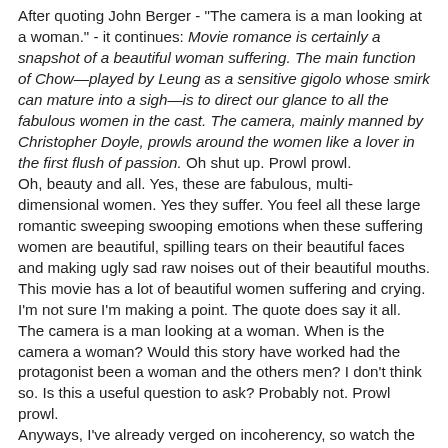After quoting John Berger - "The camera is a man looking at a woman." - it continues: Movie romance is certainly a snapshot of a beautiful woman suffering. The main function of Chow—played by Leung as a sensitive gigolo whose smirk can mature into a sigh—is to direct our glance to all the fabulous women in the cast. The camera, mainly manned by Christopher Doyle, prowls around the women like a lover in the first flush of passion. Oh shut up. Prowl prowl.
Oh, beauty and all. Yes, these are fabulous, multi-dimensional women. Yes they suffer. You feel all these large romantic sweeping swooping emotions when these suffering women are beautiful, spilling tears on their beautiful faces and making ugly sad raw noises out of their beautiful mouths. This movie has a lot of beautiful women suffering and crying.
I'm not sure I'm making a point. The quote does say it all. The camera is a man looking at a woman. When is the camera a woman? Would this story have worked had the protagonist been a woman and the others men? I don't think so. Is this a useful question to ask? Probably not. Prowl prowl.
Anyways, I've already verged on incoherency, so watch the